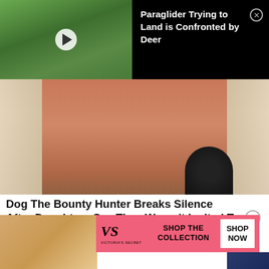[Figure (screenshot): Video thumbnail showing aerial view of green fields with paraglider shadow, alongside black title bar reading 'Paraglider Trying to Land is Confronted by Deer' with close button]
[Figure (photo): Close-up photo of a man with long blonde/white hair and reddish sun-damaged skin, speaking into a microphone]
Dog The Bounty Hunter Breaks Silence After Daughters Say They Weren't Invited To His...
[Figure (screenshot): Victoria's Secret advertisement banner with pink background showing logo, 'SHOP THE COLLECTION' text, and 'SHOP NOW' button]
[Figure (photo): Partial view of a woman's face at bottom left]
[Figure (photo): Partial view at bottom right with dark blue background]